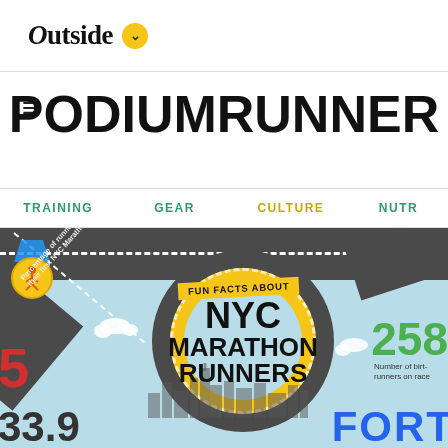Outside (with chevron badge)
PodiumRunner
TRAINING   GEAR   CULTURE   NUTR
[Figure (infographic): Fun Facts About NYC Marathon Runners infographic showing a road/running themed graphic with circular road element, medal icon, numbers 33.9, 258, and text 'FUN FACTS ABOUT NYC MARATHON RUNNERS'. Partial numbers visible: 5 (red, left), 258 (green, right), 33.9 (black, bottom left), FORT (blue, bottom right).]